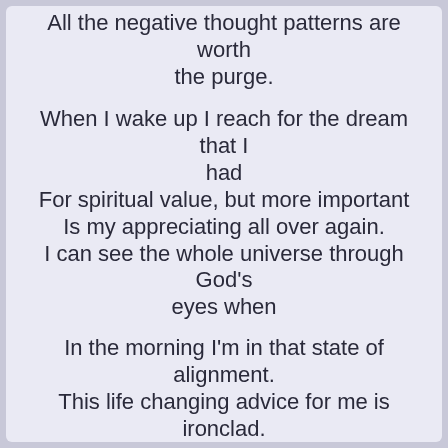All the negative thought patterns are worth the purge.

When I wake up I reach for the dream that I had
For spiritual value, but more important
Is my appreciating all over again.
I can see the whole universe through God's eyes when

In the morning I'm in that state of alignment.
This life changing advice for me is ironclad.
This entry was posted on August 16, 2022, in Philosophical and tagged alignment, alternate reality, appreciation, attraction, awanen, blogging, commentary, creative writing, deep thought, deliberate intention, detachment, dream, duality, faith, feeling, flight of thought, food for thought, gratitude, hope, life, Love, magic realism, magic realist, meditation, mind travel, new age, new age thought, new thought, peace, philosophical commentary, philosophical questions, philosophy, poetry, psychological, refreshment, schools of thought, sleep, social commentary, spiritual, spiritual commentary, spirituality, thanks, thought, vibration, writing.